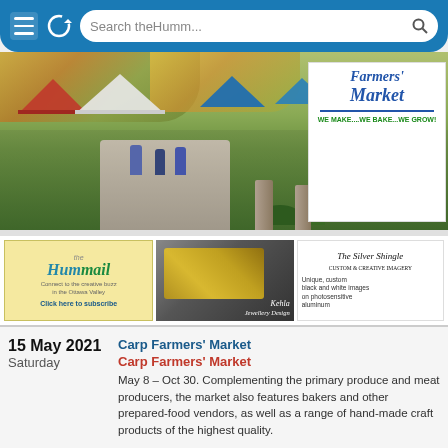Search theHumm...
[Figure (photo): Outdoor farmers market scene with colorful tents, people shopping, paved walkways, landscaping, and a sign reading Farmers Market - WE MAKE....WE BAKE...WE GROW!]
[Figure (illustration): Hummail advertisement - Connect to the creative buzz in the Ottawa Valley. Click here to subscribe.]
[Figure (photo): Kehla Jewellery Design advertisement showing gold rings on dark background]
[Figure (illustration): The Silver Shingle advertisement - Unique, custom black and white images on photosensitive aluminum]
15 May 2021
Saturday
Carp Farmers' Market
Carp Farmers' Market
May 8 – Oct 30. Complementing the primary produce and meat producers, the market also features bakers and other prepared-food vendors, as well as a range of hand-made craft products of the highest quality.